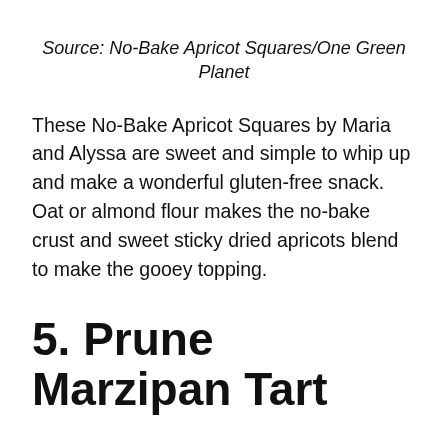Source: No-Bake Apricot Squares/One Green Planet
These No-Bake Apricot Squares by Maria and Alyssa are sweet and simple to whip up and make a wonderful gluten-free snack. Oat or almond flour makes the no-bake crust and sweet sticky dried apricots blend to make the gooey topping.
5. Prune Marzipan Tart